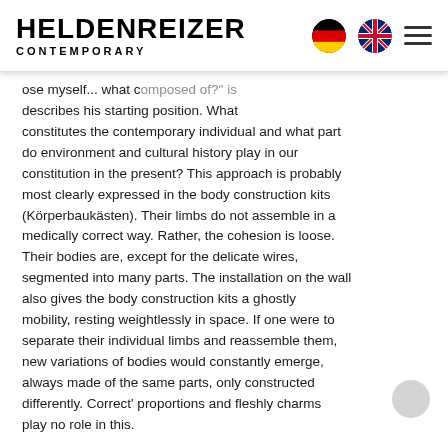HELDENREIZER CONTEMPORARY
ose myself... what composed of?" is describes his starting position. What constitutes the contemporary individual and what part do environment and cultural history play in our constitution in the present? This approach is probably most clearly expressed in the body construction kits (Körperbaukästen). Their limbs do not assemble in a medically correct way. Rather, the cohesion is loose. Their bodies are, except for the delicate wires, segmented into many parts. The installation on the wall also gives the body construction kits a ghostly mobility, resting weightlessly in space. If one were to separate their individual limbs and reassemble them, new variations of bodies would constantly emerge, always made of the same parts, only constructed differently. Correct' proportions and fleshly charms play no role in this.
With his antiquating vessel forms and stylised paintings, Witalij Frese consciously draws on the visual memory of the symbolic and pictorial world of antiquity. The ancient form of the relief is often found, for example, in saints' shrines and tombs of the Roman Empire. Mostly, the depictions refer to mythological narratives and topoi, full of signs and symbolic bodies. Such handmade reliefs, ceramics or grave slabs are